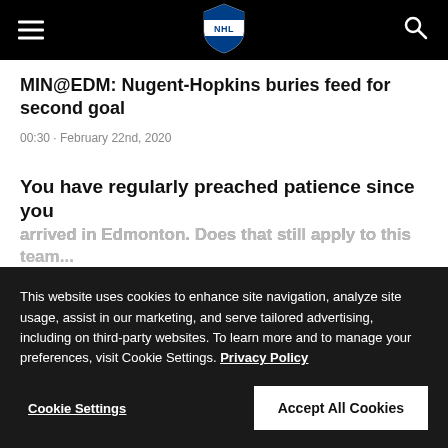NHL
MIN@EDM: Nugent-Hopkins buries feed for second goal
00:30 · February 22nd, 2020
You have regularly preached patience since you
This website uses cookies to enhance site navigation, analyze site usage, assist in our marketing, and serve tailored advertising, including on third-party websites. To learn more and to manage your preferences, visit Cookie Settings. Privacy Policy
Cookie Settings
Accept All Cookies